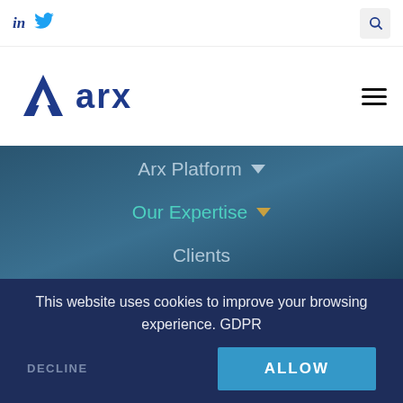[Figure (logo): LinkedIn 'in' icon and Twitter bird icon in blue, plus a search icon button on the right]
[Figure (logo): ARX company logo: blue triangle/delta icon followed by bold blue lowercase 'arx' text, with hamburger menu icon on the right]
Arx Platform ▼
Our Expertise ▼
Clients
This website uses cookies to improve your browsing experience. GDPR
DECLINE
ALLOW